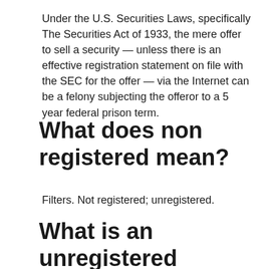Under the U.S. Securities Laws, specifically The Securities Act of 1933, the mere offer to sell a security — unless there is an effective registration statement on file with the SEC for the offer — via the Internet can be a felony subjecting the offeror to a 5 year federal prison term.
What does non registered mean?
Filters. Not registered; unregistered.
What is an unregistered exempt security?